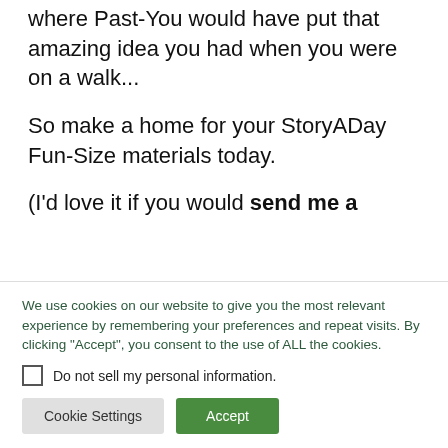where Past-You would have put that amazing idea you had when you were on a walk...
So make a home for your StoryADay Fun-Size materials today.
(I'd love it if you would send me a
We use cookies on our website to give you the most relevant experience by remembering your preferences and repeat visits. By clicking "Accept", you consent to the use of ALL the cookies.
Do not sell my personal information.
Cookie Settings
Accept